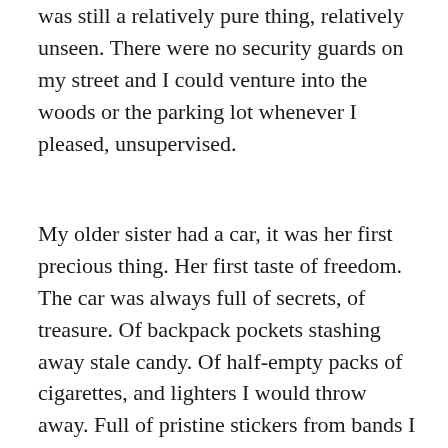was still a relatively pure thing, relatively unseen. There were no security guards on my street and I could venture into the woods or the parking lot whenever I pleased, unsupervised.
My older sister had a car, it was her first precious thing. Her first taste of freedom. The car was always full of secrets, of treasure. Of backpack pockets stashing away stale candy. Of half-empty packs of cigarettes, and lighters I would throw away. Full of pristine stickers from bands I didn't know: I just knew they were stickers and I stuck them on something. They probably